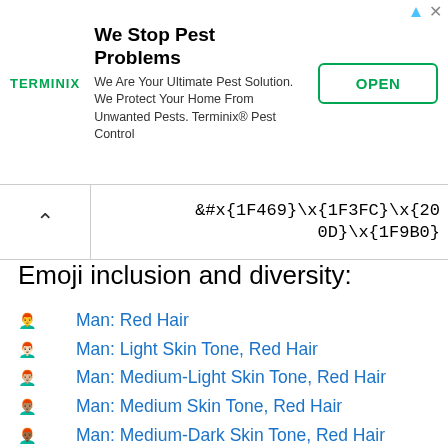[Figure (other): Terminix advertisement banner: 'We Stop Pest Problems' with OPEN button]
\x{1F469}\x{1F3FC}\x{20 0D}\x{1F9B0}
Emoji inclusion and diversity:
Man: Red Hair
Man: Light Skin Tone, Red Hair
Man: Medium-Light Skin Tone, Red Hair
Man: Medium Skin Tone, Red Hair
Man: Medium-Dark Skin Tone, Red Hair
Man: Dark Skin Tone, Red Hair
Woman: Red Hair